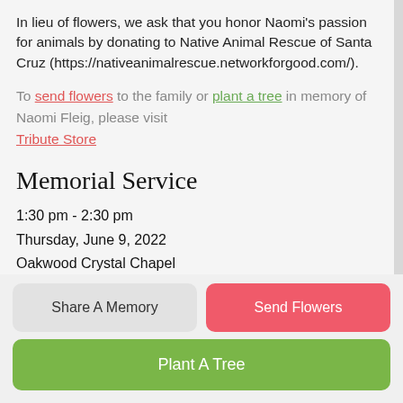In lieu of flowers, we ask that you honor Naomi's passion for animals by donating to Native Animal Rescue of Santa Cruz (https://nativeanimalrescue.networkforgood.com/).
To send flowers to the family or plant a tree in memory of Naomi Fleig, please visit Tribute Store
Memorial Service
1:30 pm - 2:30 pm
Thursday, June 9, 2022
Oakwood Crystal Chapel
3301 Paul Sweet Road
Santa Cruz, California, United States
Share A Memory
Send Flowers
Plant A Tree